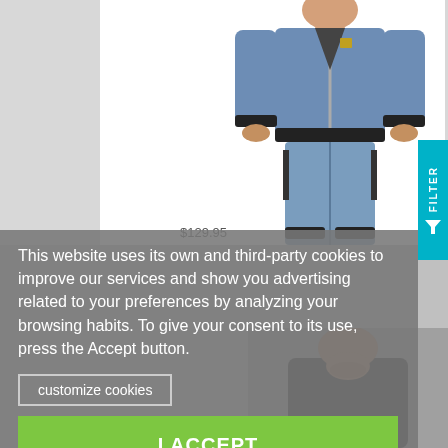[Figure (photo): Man wearing blue zip-up tracksuit jacket and matching pants, torso and lower body visible, white background]
$129.95
This website uses its own and third-party cookies to improve our services and show you advertising related to your preferences by analyzing your browsing habits. To give your consent to its use, press the Accept button.
customize cookies
I ACCEPT
[Figure (photo): Man wearing dark jacket, lower portion of face visible, bottom right of page]